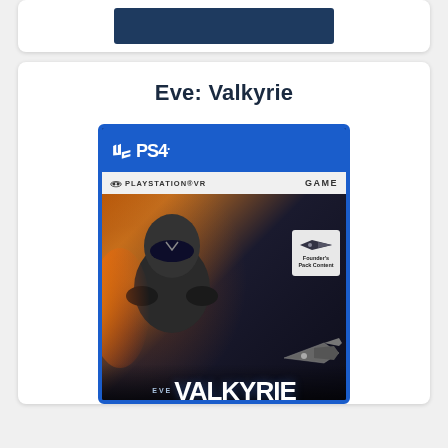[Figure (screenshot): Partial view of a dark blue banner/card at the top of a product listing page]
Eve: Valkyrie
[Figure (photo): PS4 PlayStation VR game box art for Eve: Valkyrie, showing a sci-fi armored figure and spaceships, with blue case border, PS4 logo, PlayStation VR Game bar, and Founder's Pack Content badge. The title VALKYRIE appears at the bottom.]